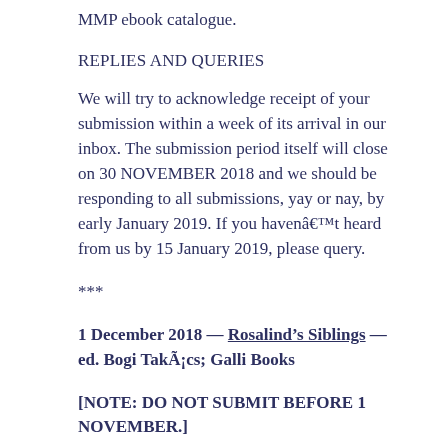MMP ebook catalogue.
REPLIES AND QUERIES
We will try to acknowledge receipt of your submission within a week of its arrival in our inbox. The submission period itself will close on 30 NOVEMBER 2018 and we should be responding to all submissions, yay or nay, by early January 2019. If you haven’t heard from us by 15 January 2019, please query.
***
1 December 2018 — Rosalind’s Siblings — ed. Bogi Takács; Galli Books
[NOTE: DO NOT SUBMIT BEFORE 1 NOVEMBER.]